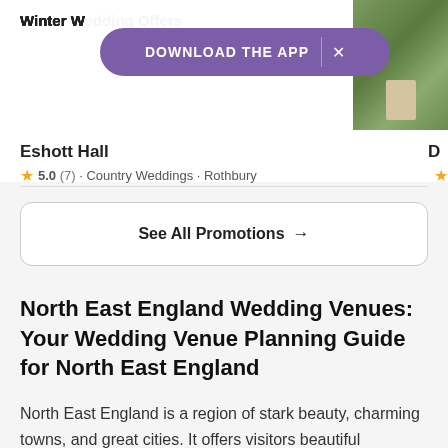Winter Wedding Off...
[Figure (photo): Photo of ivy-covered building exterior, partially cropped at top right]
DOWNLOAD THE APP ×
Eshott Hall
5.0 (7) · Country Weddings · Rothbury
D (partial venue name)
See All Promotions →
North East England Wedding Venues: Your Wedding Venue Planning Guide for North East England
North East England is a region of stark beauty, charming towns, and great cities. It offers visitors beautiful landscapes to appreciate, such as the Cheviot Hills and